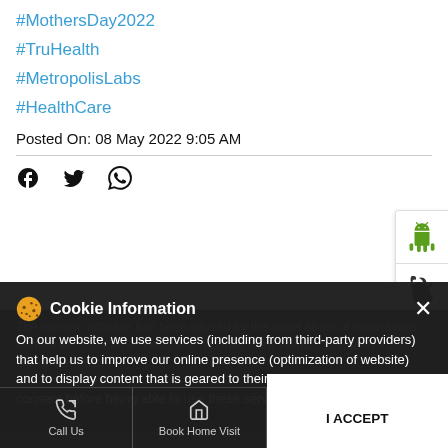#MothersDay2022
#TruHealth
#MetropolisLabs
#HealthCare
Posted On: 08 May 2022 9:05 AM
[Figure (screenshot): Social share icons: Facebook, Twitter, WhatsApp]
[Figure (screenshot): App store buttons: Android and Apple]
The current outbreak has been caused by the novel strain of coronavirus termed as COVID-19. It was first reported from Wuhan, China on 31 December 2019.
Cookie Information
On our website, we use services (including from third-party providers) that help us to improve our online presence (optimization of website) and to display content that is geared to their interests. We need your consent before being able to use these services.
I ACCEPT
Call Us   Book Home Visit   Directions